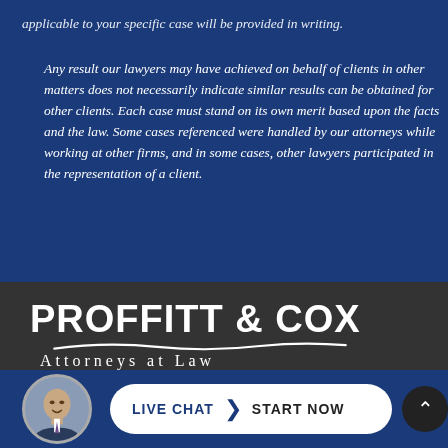applicable to your specific case will be provided in writing. Any result our lawyers may have achieved on behalf of clients in other matters does not necessarily indicate similar results can be obtained for other clients. Each case must stand on its own merit based upon the facts and the law. Some cases referenced were handled by our attorneys while working at other firms, and in some cases, other lawyers participated in the representation of a client.
[Figure (logo): Proffitt & Cox Attorneys at Law logo in white text on dark gray background with decorative underline swash]
[Figure (photo): Circular avatar photo of a male attorney in a suit, used as live chat widget icon]